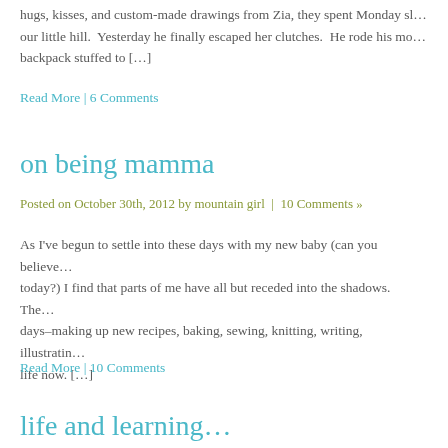hugs, kisses, and custom-made drawings from Zia, they spent Monday sl… our little hill.  Yesterday he finally escaped her clutches.  He rode his mo… backpack stuffed to […]
Read More | 6 Comments
on being mamma
Posted on October 30th, 2012 by mountain girl  |  10 Comments »
As I've begun to settle into these days with my new baby (can you believe… today?) I find that parts of me have all but receded into the shadows.  The… days–making up new recipes, baking, sewing, knitting, writing, illustratin… life now. […]
Read More | 10 Comments
life and learning…